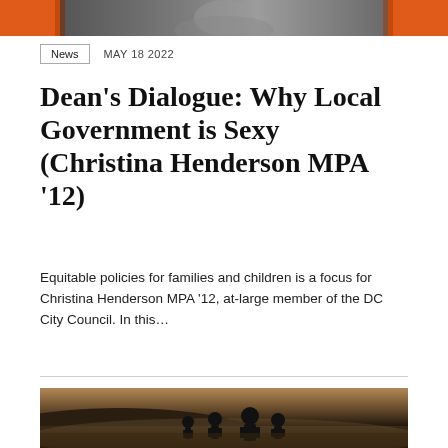[Figure (photo): Top banner: partial photo of a person with orange accent bars on either side]
News  MAY 18 2022
Dean's Dialogue: Why Local Government is Sexy (Christina Henderson MPA ’12)
Equitable policies for families and children is a focus for Christina Henderson MPA ’12, at-large member of the DC City Council. In this…
[Figure (photo): Silhouetted children running on a dusty hillside at dusk]